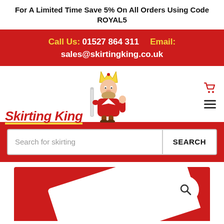For A Limited Time Save 5% On All Orders Using Code ROYAL5
Call Us: 01527 864 311    Email: sales@skirtingking.co.uk
[Figure (logo): Skirting King logo with cartoon king mascot holding a skirting board, red italic text 'Skirting King' with yellow underline]
[Figure (screenshot): Search bar on red background with placeholder 'Search for skirting' and SEARCH button]
[Figure (screenshot): Red banner with white angled shape and circular search icon button]